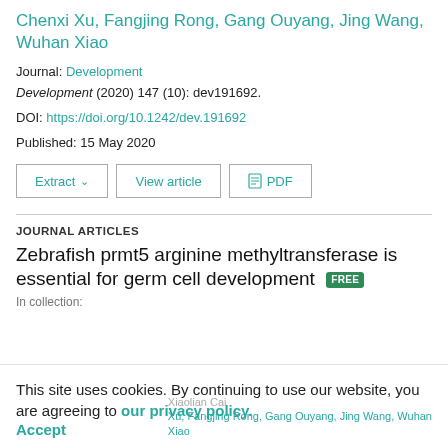Chenxi Xu, Fangjing Rong, Gang Ouyang, Jing Wang, Wuhan Xiao
Journal: Development
Development (2020) 147 (10): dev191692.
DOI: https://doi.org/10.1242/dev.191692
Published: 15 May 2020
JOURNAL ARTICLES
Zebrafish prmt5 arginine methyltransferase is essential for germ cell development
In collection:
This site uses cookies. By continuing to use our website, you are agreeing to our privacy policy. Accept